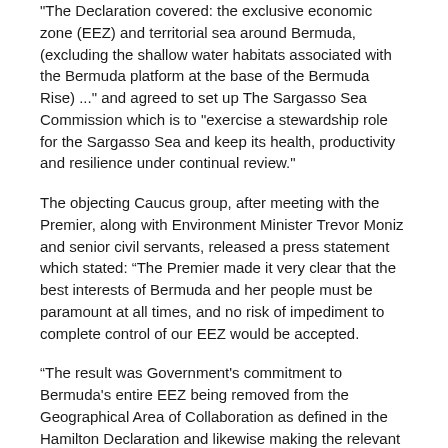"The Declaration covered: the exclusive economic zone (EEZ) and territorial sea around Bermuda, (excluding the shallow water habitats associated with the Bermuda platform at the base of the Bermuda Rise) ..." and agreed to set up The Sargasso Sea Commission which is to "exercise a stewardship role for the Sargasso Sea and keep its health, productivity and resilience under continual review."
The objecting Caucus group, after meeting with the Premier, along with Environment Minister Trevor Moniz and senior civil servants, released a press statement which stated: “The Premier made it very clear that the best interests of Bermuda and her people must be paramount at all times, and no risk of impediment to complete control of our EEZ would be accepted.
“The result was Government's commitment to Bermuda's entire EEZ being removed from the Geographical Area of Collaboration as defined in the Hamilton Declaration and likewise making the relevant distinction on the map in Annex 1 (of the Hamilton Declaration document) prior to signing."
They said their concerns and those of the other stakeholder groups were “well received” by The Premier and Minister Moniz.
“The Caucus wishes to sincerely thank the Premier and Minister Moniz for their time and consideration and looks forward to